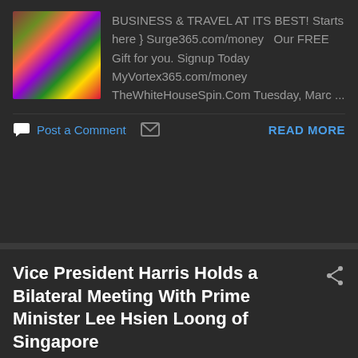BUSINESS & TRAVEL AT ITS BEST! Starts here }  Surge365.com/money   Our FREE Gift for you. Signup Today MyVortex365.com/money TheWhiteHouseSpin.Com Tuesday, Marc ...
Post a Comment   READ MORE
Vice President Harris Holds a Bilateral Meeting With Prime Minister Lee Hsien Loong of Singapore
- March 29, 2022
BUSINESS & TRAVEL AT ITS BEST! Starts here }  Surge365.com/money   Our FREE Gift